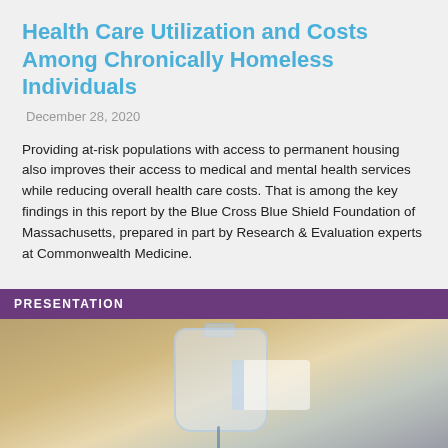Health Care Utilization and Costs Among Chronically Homeless Individuals
December 28, 2020
Providing at-risk populations with access to permanent housing also improves their access to medical and mental health services while reducing overall health care costs. That is among the key findings in this report by the Blue Cross Blue Shield Foundation of Massachusetts, prepared in part by Research & Evaluation experts at Commonwealth Medicine.
PRESENTATION
[Figure (photo): Close-up photograph of an IV bag or medical fluid bag hanging, with tubing attached, against a blurred background.]